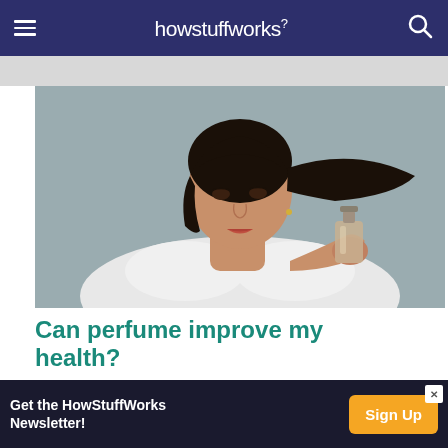howstuffworks
[Figure (photo): A young woman with dark hair in a ponytail, wearing a white sleeveless top, applying perfume to her neck against a gray background.]
Can perfume improve my health?
Spritzing on some perfume every morning certainly
[Figure (infographic): Advertisement banner: 'Get the HowStuffWorks Newsletter!' with a 'Sign Up' button in orange.]